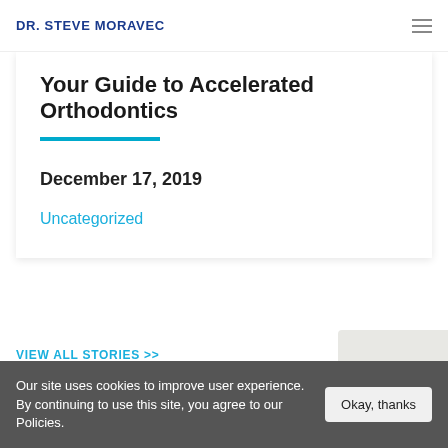DR. STEVE MORAVEC
Your Guide to Accelerated Orthodontics
December 17, 2019
Uncategorized
VIEW ALL STORIES >>
MENU & CONTACT
Our site uses cookies to improve user experience. By continuing to use this site, you agree to our Policies.